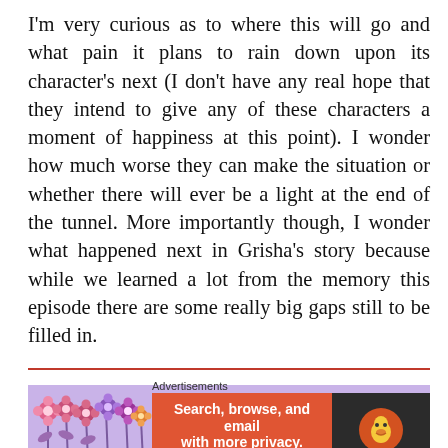I'm very curious as to where this will go and what pain it plans to rain down upon its character's next (I don't have any real hope that they intend to give any of these characters a moment of happiness at this point). I wonder how much worse they can make the situation or whether there will ever be a light at the end of the tunnel. More importantly though, I wonder what happened next in Grisha's story because while we learned a lot from the memory this episode there are some really big gaps still to be filled in.
[Figure (illustration): Banner advertisement with purple floral background reading 'Help Support 100 Word Anime This Spring Season']
[Figure (illustration): DuckDuckGo advertisement: 'Search, browse, and email with more privacy. All in One Free App' with orange background and DuckDuckGo logo on dark background]